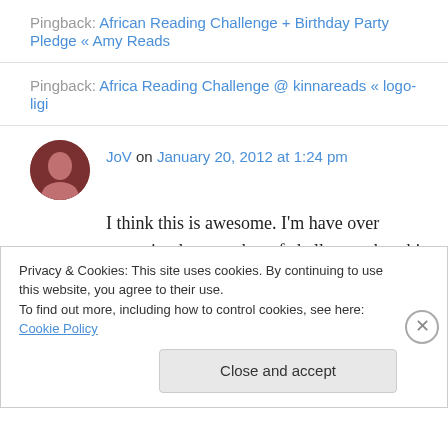Pingback: African Reading Challenge + Birthday Party Pledge « Amy Reads
Pingback: Africa Reading Challenge @ kinnareads « logo-ligi
JoV on January 20, 2012 at 1:24 pm
I think this is awesome. I'm have over committed on number of challenges, but this one really sounds like up my alley. If by fluke I am close to
Privacy & Cookies: This site uses cookies. By continuing to use this website, you agree to their use. To find out more, including how to control cookies, see here: Cookie Policy
Close and accept